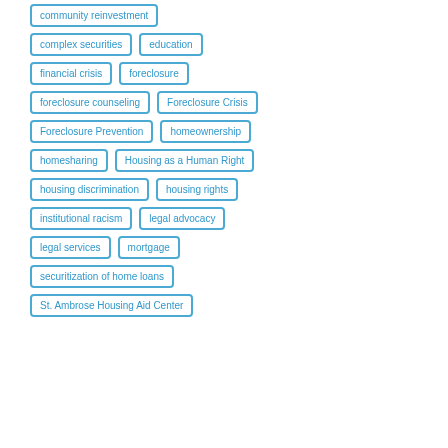community reinvestment
complex securities
education
financial crisis
foreclosure
foreclosure counseling
Foreclosure Crisis
Foreclosure Prevention
homeownership
homesharing
Housing as a Human Right
housing discrimination
housing rights
institutional racism
legal advocacy
legal services
mortgage
securitization of home loans
St. Ambrose Housing Aid Center